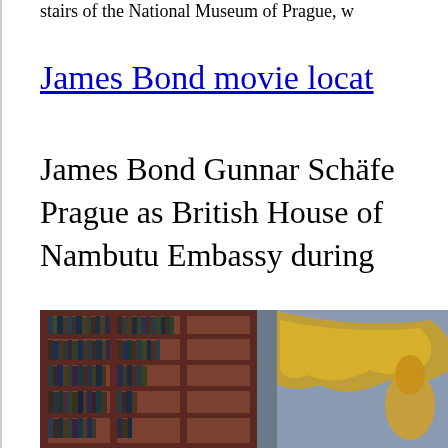stairs of the National Museum of Prague, w
James Bond movie locat
James Bond Gunnar Schäfe Prague as British House of Nambutu Embassy during
[Figure (photo): Interior photo of a library or museum with tall wooden bookshelves filled with books, and ornate golden decorative elements visible on the right side.]